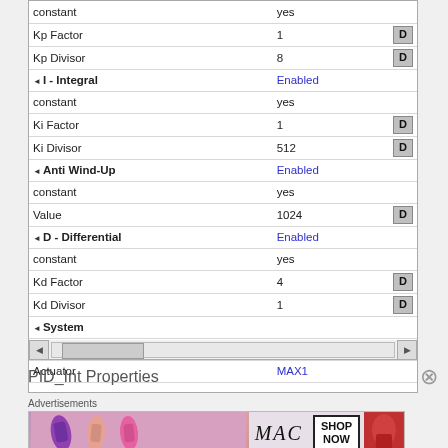| Property | Value |  |
| --- | --- | --- |
| constant | yes |  |
| Kp Factor | 1 | D |
| Kp Divisor | 8 | D |
| ▲ I - Integral | Enabled |  |
| constant | yes |  |
| Ki Factor | 1 | D |
| Ki Divisor | 512 | D |
| ▲ Anti Wind-Up | Enabled |  |
| constant | yes |  |
| Value | 1024 | D |
| ▲ D - Differential | Enabled |  |
| constant | yes |  |
| Kd Factor | 4 | D |
| Kd Divisor | 1 | D |
| ▲ System |  |  |
| Sensor | Tacho1 |  |
| Actuator | MAX1 |  |
PID_Int Properties
[Figure (photo): MAC cosmetics advertisement showing lipsticks with SHOP NOW text]
Advertisements